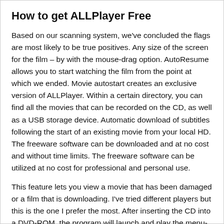How to get ALLPlayer Free
Based on our scanning system, we've concluded the flags are most likely to be true positives. Any size of the screen for the film – by with the mouse-drag option. AutoResume allows you to start watching the film from the point at which we ended. Movie autostart creates an exclusive version of ALLPlayer. Within a certain directory, you can find all the movies that can be recorded on the CD, as well as a USB storage device. Automatic download of subtitles following the start of an existing movie from your local HD. The freeware software can be downloaded and at no cost and without time limits. The freeware software can be utilized at no cost for professional and personal use.
This feature lets you view a movie that has been damaged or a film that is downloading. I've tried different players but this is the one I prefer the most. After inserting the CD into a DVD-ROM, the program will launch and play the menu-playlist that contains all the files that were previously recorded within the